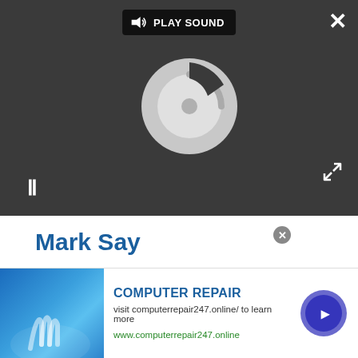[Figure (screenshot): Video player overlay bar with dark background showing a loading spinner, play sound button, pause button, close button, and expand button]
Mark Say
SEE MORE ROUNDUP NEWS ▶
[Figure (screenshot): Advertisement banner: COMPUTER REPAIR - visit computerrepair247.online/ to learn more - www.computerrepair247.online]